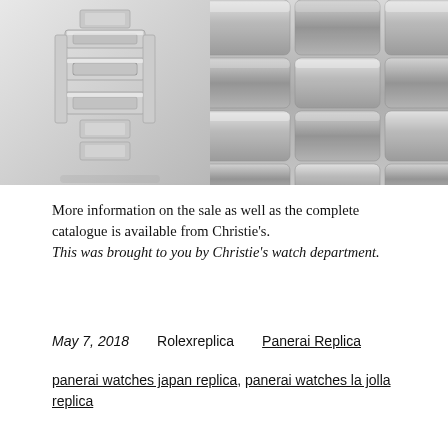[Figure (photo): Two close-up photos of watch bracelets/links. Left image shows a silver watch bracelet clasp/buckle detail. Right image shows a close-up view of brushed stainless steel watch bracelet links.]
More information on the sale as well as the complete catalogue is available from Christie's. This was brought to you by Christie's watch department.
May 7, 2018    Rolexreplica    Panerai Replica
panerai watches japan replica, panerai watches la jolla replica